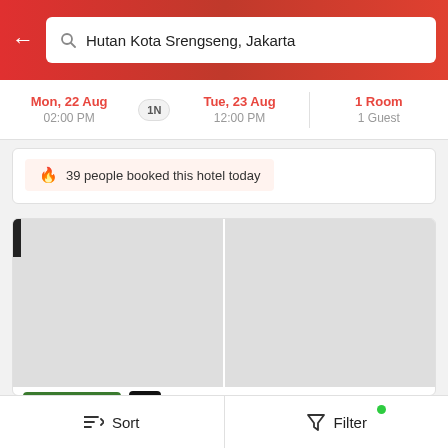Hutan Kota Srengseng, Jakarta
Mon, 22 Aug 02:00 PM | 1N | Tue, 23 Aug 12:00 PM | 1 Room 1 Guest
39 people booked this hotel today
[Figure (screenshot): Hotel card image area with two placeholder image panels (left and right)]
4.6 ★ | (224)
OYO 90784 Adelia Syariah Residence
6.5 km
Tomang, Jakarta
Sort   Filter